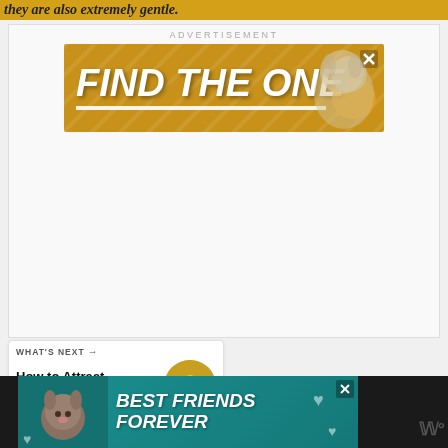they are also extremely gentle
ADVERTISEMENT
[Figure (illustration): Advertisement banner reading FIND THE ONE with a dog image on teal/yellow background with close button]
[Figure (illustration): Heart/favorite floating action button (teal circle)]
[Figure (illustration): Share floating action button (white circle)]
WHAT'S NEXT → How to Attract Bees to Your...
[Figure (illustration): Bottom advertisement banner reading BEST FRIENDS FOREVER with cat image and close button]